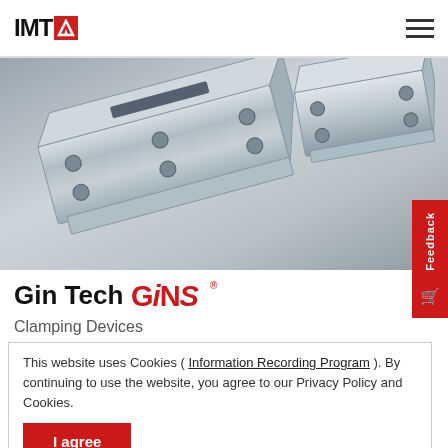IMTS
[Figure (photo): Industrial clamping devices / wire EDM extension clamps, metallic silver-grey precision parts photographed on gradient background]
Gin Tech GiNS
Clamping Devices
Wire EDM Extensions Clamp
This website uses Cookies ( Information Recording Program ). By continuing to use the website, you agree to our Privacy Policy and Cookies.
I agree